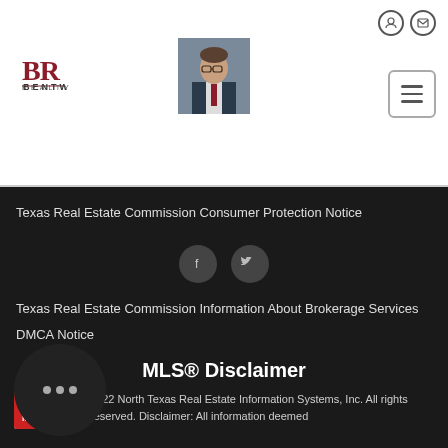[Figure (logo): Bentwood Realty logo with BR letters in dark red and brand name below]
[Figure (photo): Headshot photo of a man in a suit and tie]
Texas Real Estate Commission Consumer Protection Notice
[Figure (other): Social media icons: Facebook and Twitter circular buttons]
Texas Real Estate Commission Information About Brokerage Services
DMCA Notice
MLS® Disclaimer
[Figure (logo): MLS logo with red and blue halves]
2022 North Texas Real Estate Information Systems, Inc. All rights reserved. Disclaimer: All information deemed